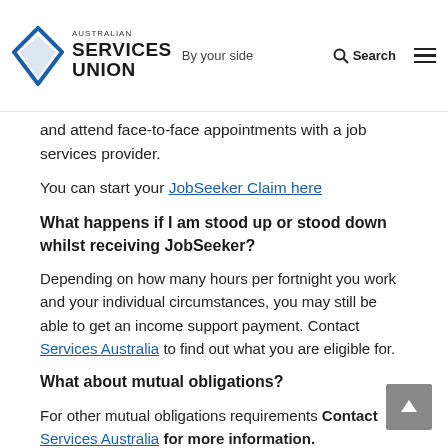AUSTRALIAN SERVICES UNION — By your side | Search
and attend face-to-face appointments with a job services provider.
You can start your JobSeeker Claim here
What happens if I am stood up or stood down whilst receiving JobSeeker?
Depending on how many hours per fortnight you work and your individual circumstances, you may still be able to get an income support payment. Contact Services Australia to find out what you are eligible for.
What about mutual obligations?
For other mutual obligations requirements Contact Services Australia for more information.
Mutual obligation requirements are tasks and activities you